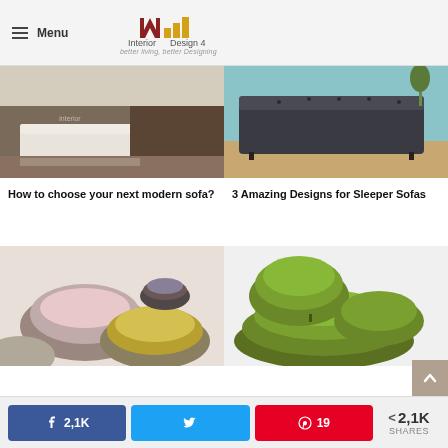Interior Design 4 — better living, better Designing
[Figure (photo): Modern white sofa in contemporary living room with brick wall]
How to choose your next modern sofa?
[Figure (photo): Dark grey tufted sleeper sofa on wooden floor]
3 Amazing Designs for Sleeper Sofas
[Figure (photo): Colorful round poufs in pink, grey and yellow]
[Figure (photo): Green bean bag chairs]
2,1K shares — Facebook 2,1K | Twitter | Pinterest 19